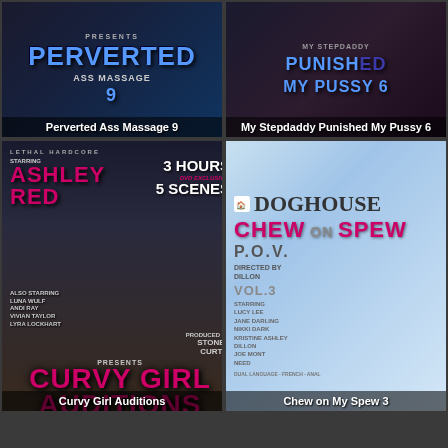[Figure (photo): DVD cover for Perverted Ass Massage 9 with blue text on dark background]
Perverted Ass Massage 9
[Figure (photo): DVD cover for My Stepdaddy Punished My Pussy 6 with blue text on dark background]
My Stepdaddy Punished My Pussy 6
[Figure (photo): DVD cover for Curvy Girl Auditions featuring Ashley Red, Lethal Hardcore label]
Curvy Girl Auditions
[Figure (photo): DVD cover for Chew on My Spew 3, Doghouse label, POV, Vol. 3]
Chew on My Spew 3